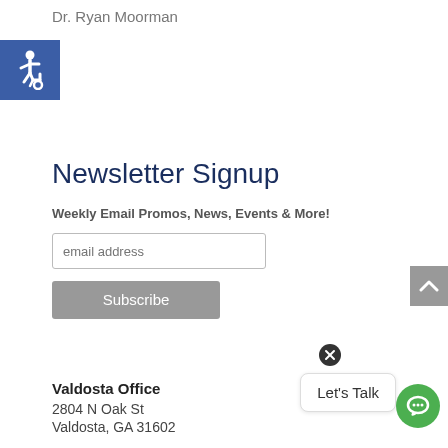Dr. Ryan Moorman
[Figure (illustration): Blue square with white wheelchair accessibility symbol (ISA icon)]
Newsletter Signup
Weekly Email Promos, News, Events & More!
email address
Subscribe
Valdosta Office
2804 N Oak St
Valdosta, GA 31602
[Figure (other): Gray scroll-to-top button with upward chevron arrow]
[Figure (other): Chat widget: close X button, 'Let's Talk' speech bubble, and green chat icon circle]